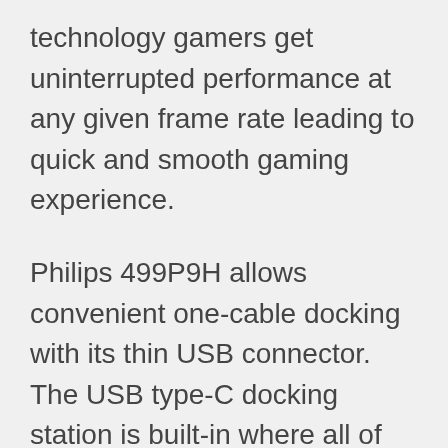technology gamers get uninterrupted performance at any given frame rate leading to quick and smooth gaming experience.
Philips 499P9H allows convenient one-cable docking with its thin USB connector. The USB type-C docking station is built-in where all of the external devices including Ethernet cable, keyboard and mouse can be connected. You can not only connect your device to transfer data on super-speed, but you can also recharge your device simultaneously.